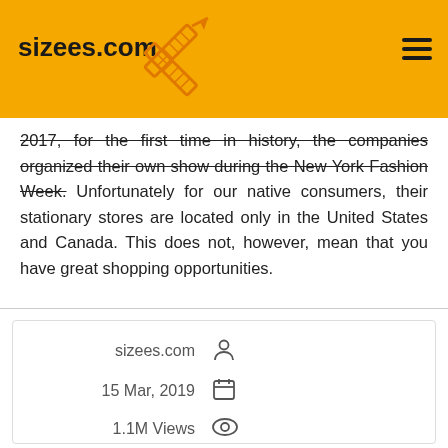sizees.com
2017, for the first time in history, the companies organized their own show during the New York Fashion Week. Unfortunately for our native consumers, their stationary stores are located only in the United States and Canada. This does not, however, mean that you have great shopping opportunities.
sizees.com | 15 Mar, 2019 | 1.1M Views | 5 / 5